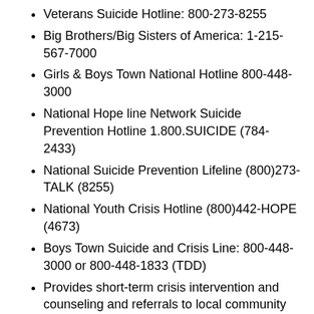Veterans Suicide Hotline: 800-273-8255
Big Brothers/Big Sisters of America: 1-215-567-7000
Girls & Boys Town National Hotline 800-448-3000
National Hope line Network Suicide Prevention Hotline 1.800.SUICIDE (784-2433)
National Suicide Prevention Lifeline (800)273-TALK (8255)
National Youth Crisis Hotline (800)442-HOPE (4673)
Boys Town Suicide and Crisis Line: 800-448-3000 or 800-448-1833 (TDD)
Provides short-term crisis intervention and counseling and referrals to local community resources. Counsels on parent-child conflicts, marital and family issues, suicide, pregnancy, runaway youth, physical and